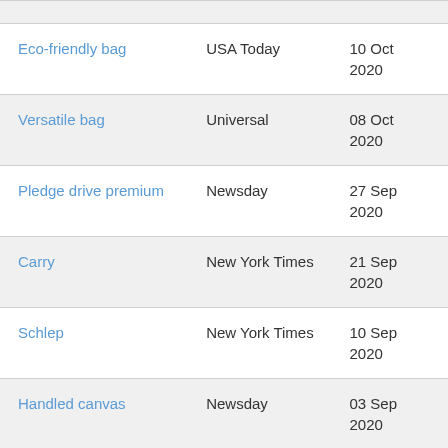| Name | Source | Date |
| --- | --- | --- |
| Eco-friendly bag | USA Today | 10 Oct 2020 |
| Versatile bag | Universal | 08 Oct 2020 |
| Pledge drive premium | Newsday | 27 Sep 2020 |
| Carry | New York Times | 21 Sep 2020 |
| Schlep | New York Times | 10 Sep 2020 |
| Handled canvas | Newsday | 03 Sep 2020 |
| Reusable bag | Universal | 30 Aug |